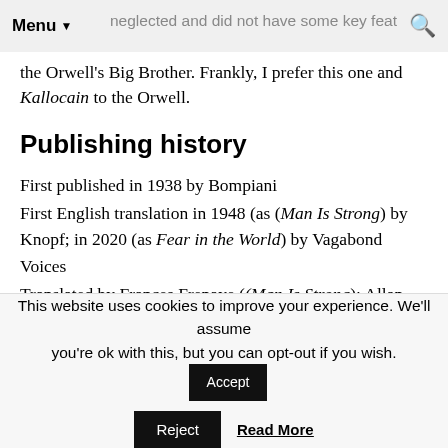Menu neglected and did not have some key feature
the Orwell's Big Brother. Frankly, I prefer this one and Kallocain to the Orwell.
Publishing history
First published in 1938 by Bompiani
First English translation in 1948 (as (Man Is Strong) by Knopf; in 2020 (as Fear in the World) by Vagabond Voices
Translated by Frances Frenaye ((Man Is Strong); Allan Cameron (Fear in the World)
This website uses cookies to improve your experience. We'll assume you're ok with this, but you can opt-out if you wish. Accept Reject Read More